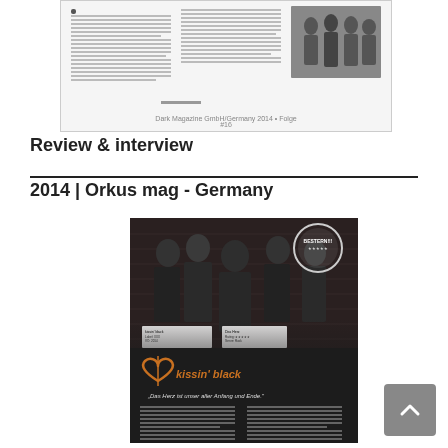[Figure (screenshot): Small thumbnail screenshot of a magazine page with text columns and a band photo on the right side]
Review & interview
2014 | Orkus mag - Germany
[Figure (photo): Orkus magazine page featuring kissin' black band with members posed against a brick wall, a heart logo, the band name 'kissin' black', a stamp/seal graphic, and tagline 'Das Herz ist unser aller Anfang und Ende.']